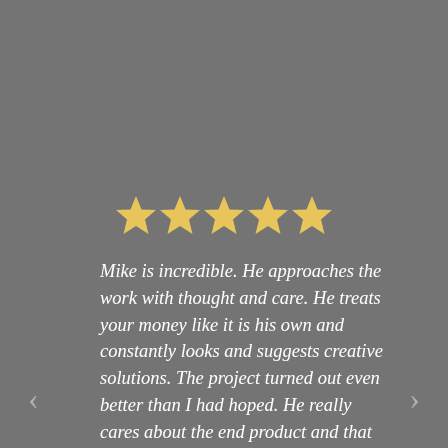[Figure (other): Five gold/yellow star rating icons displayed in a row]
Mike is incredible. He approaches the work with thought and care. He treats your money like it is his own and constantly looks and suggests creative solutions. The project turned out even better than I had hoped. He really cares about the end product and that the results are exactly what you want. Through the 6 month project, we worked together as a team and